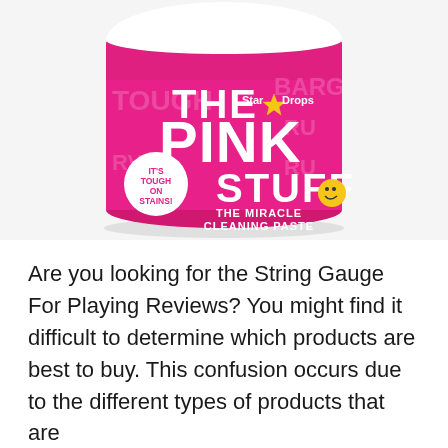[Figure (photo): A round tub of 'The Pink Stuff - The Miracle Cleaning Paste' by StarDrops. The container has a pink label with white bold text reading 'THE PINK STUFF' and a badge saying 'IT'S TOUGH ON STAINS'. The StarDrops logo with a yellow star is visible on the label.]
Are you looking for the String Gauge For Playing Reviews? You might find it difficult to determine which products are best to buy. This confusion occurs due to the different types of products that are